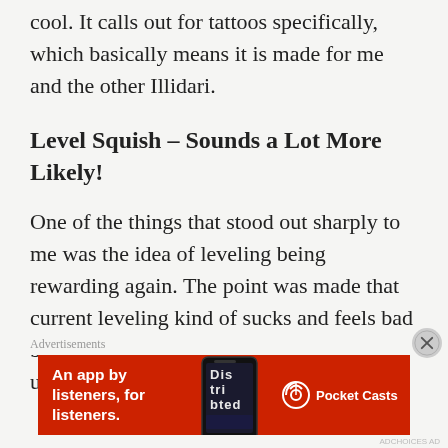cool. It calls out for tattoos specifically, which basically means it is made for me and the other Illidari.
Level Squish – Sounds a Lot More Likely!
One of the things that stood out sharply to me was the idea of leveling being rewarding again. The point was made that current leveling kind of sucks and feels bad because there are large gaps between unlocking new abilities or other
[Figure (other): Pocket Casts advertisement banner — red background with white text reading 'An app by listeners, for listeners.' with a phone image and Pocket Casts logo]
Advertisements